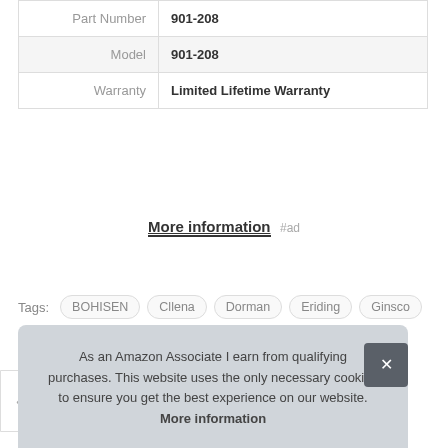|  |  |
| --- | --- |
| Part Number | 901-208 |
| Model | 901-208 |
| Warranty | Limited Lifetime Warranty |
More information #ad
Tags: BOHISEN Cllena Dorman Eriding Ginsco Linkstyle Qidoe Qiilu Tool WYMECT Yeemie
As an Amazon Associate I earn from qualifying purchases. This website uses the only necessary cookies to ensure you get the best experience on our website. More information